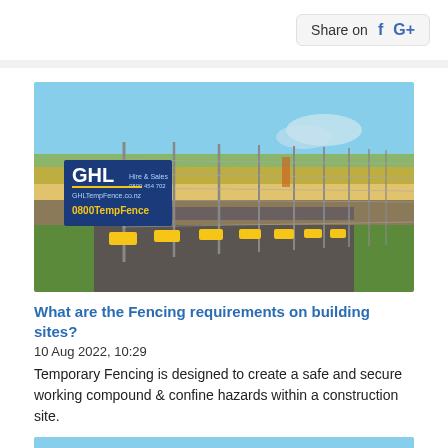Share on  f  G+
[Figure (photo): Temporary fencing at a construction site with yellow base blocks, GHL TempFence signage, chain-link fence panels along a pathway, green grass and blue sky in background.]
What are the Fencing requirements on building sites?
10 Aug 2022, 10:29
Temporary Fencing is designed to create a safe and secure working compound & confine hazards within a construction site.
[Figure (photo): Another temporary fencing photo showing chain-link fence panels with trees and sky in background.]